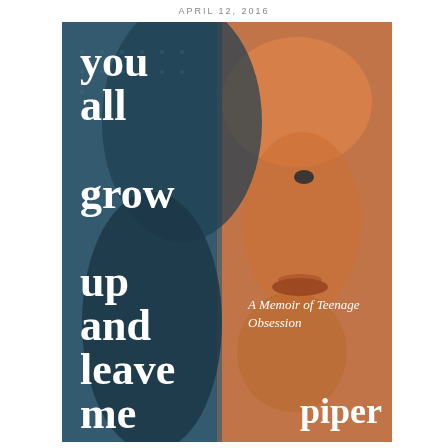APRIL 12, 2016
[Figure (illustration): Book cover for 'you all grow up and leave me: A Memoir of Teenage Obsession' by Piper. The cover features a duotone image of a young person's face — half in teal/blue and half in orange — with large bold white serif title text on the left side and subtitle and author name on the right/bottom.]
you all grow up and leave me
A Memoir of Teenage Obsession
piper